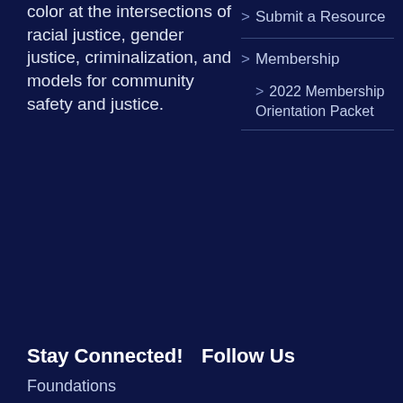color at the intersections of racial justice, gender justice, criminalization, and models for community safety and justice.
> Submit a Resource
> Membership
> 2022 Membership Orientation Packet
Stay Connected!
Follow Us
Foundations